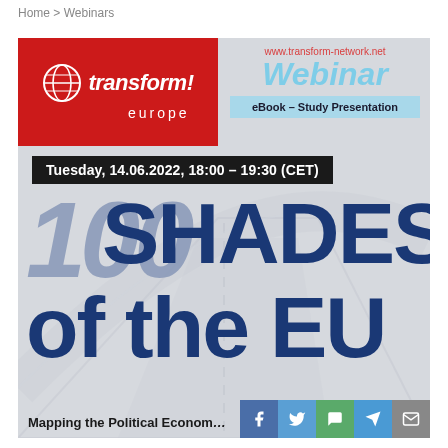Home > Webinars
[Figure (infographic): Transform! Europe webinar promotional card featuring the organization logo on red background, webinar title, date/time, and large styled text reading '100 SHADES of the EU – Mapping the Political Economy...' with social share icons at bottom]
www.transform-network.net
Webinar
eBook – Study Presentation
Tuesday, 14.06.2022, 18:00 – 19:30 (CET)
100 SHADES of the EU
Mapping the Political Econom...